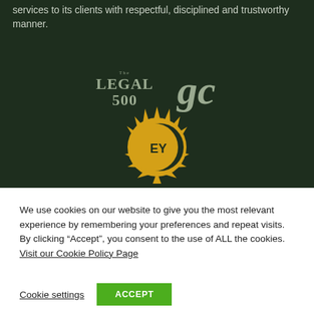services to its clients with respectful, disciplined and trustworthy manner.
[Figure (logo): The Legal 500 logo and GC (General Counsel) logo, both in grey/silver tones on dark green background]
[Figure (logo): CEY law firm sun logo — yellow sun with crescent C and EY letters in the center, on dark green background]
We use cookies on our website to give you the most relevant experience by remembering your preferences and repeat visits. By clicking “Accept”, you consent to the use of ALL the cookies. Visit our Cookie Policy Page
Cookie settings
ACCEPT